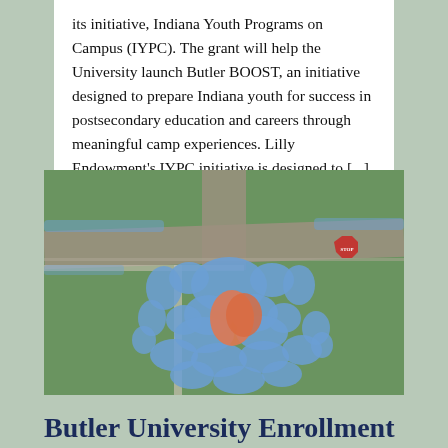its initiative, Indiana Youth Programs on Campus (IYPC). The grant will help the University launch Butler BOOST, an initiative designed to prepare Indiana youth for success in postsecondary education and careers through meaningful camp experiences. Lilly Endowment's IYPC initiative is designed to [...]
[Figure (photo): Aerial photograph of a large group of people wearing blue t-shirts arranged on green grass to form the shape of a bulldog (Butler University mascot). A smaller group wearing red/orange shirts forms the bulldog's heart/body in the center. Roads and sidewalks are visible in the upper portion of the image.]
Butler University Enrollment